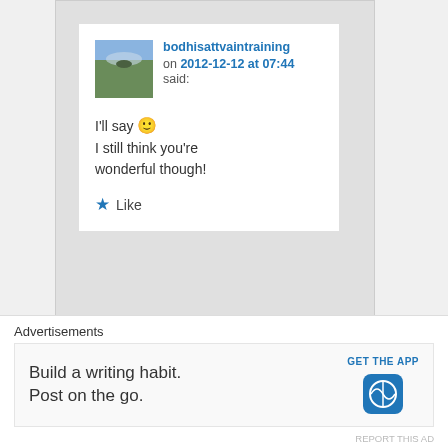[Figure (screenshot): WordPress blog comment screenshot showing user bodhisattvaintraining's comment on 2012-12-12 at 07:44 saying 'I'll say 🙂 I still think you're wonderful though!' with a Like button]
Advertisements
Build a writing habit. Post on the go.
GET THE APP